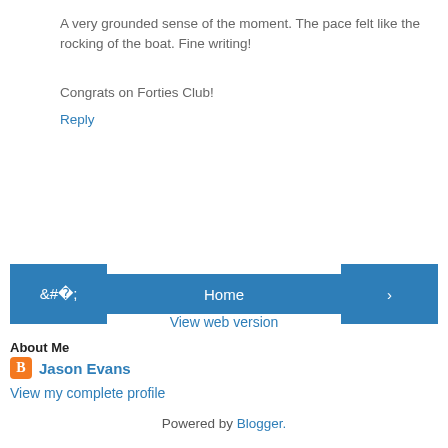A very grounded sense of the moment. The pace felt like the rocking of the boat. Fine writing!
Congrats on Forties Club!
Reply
[Figure (other): Navigation bar with left arrow button, Home button, and right arrow button, all in blue]
View web version
About Me
Jason Evans
View my complete profile
Powered by Blogger.